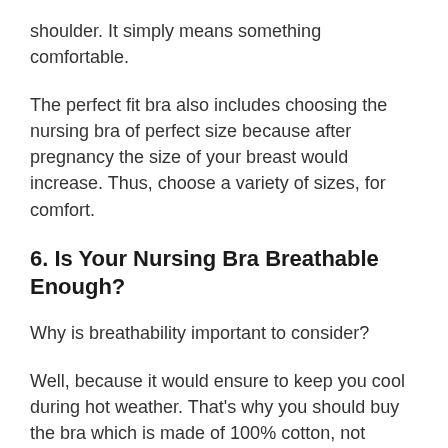shoulder. It simply means something comfortable.
The perfect fit bra also includes choosing the nursing bra of perfect size because after pregnancy the size of your breast would increase. Thus, choose a variety of sizes, for comfort.
6. Is Your Nursing Bra Breathable Enough?
Why is breathability important to consider?
Well, because it would ensure to keep you cool during hot weather. That’s why you should buy the bra which is made of 100% cotton, not synthetic fabric because it can be the cause of